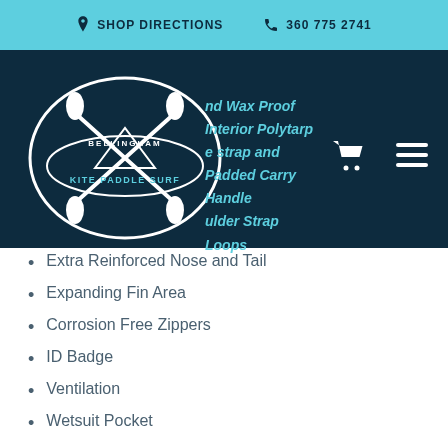SHOP DIRECTIONS   360 775 2741
[Figure (logo): Bellingham Kite Paddle Surf logo with circular emblem showing paddles and waves]
...nd Wax Proof Interior Polytarp
...re strap and Padded Carry Handle
...ulder Strap Loops
Extra Reinforced Nose and Tail
Expanding Fin Area
Corrosion Free Zippers
ID Badge
Ventilation
Wetsuit Pocket